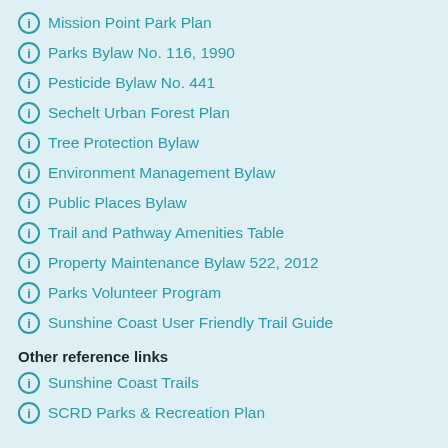Mission Point Park Plan
Parks Bylaw No. 116, 1990
Pesticide Bylaw No. 441
Sechelt Urban Forest Plan
Tree Protection Bylaw
Environment Management Bylaw
Public Places Bylaw
Trail and Pathway Amenities Table
Property Maintenance Bylaw 522, 2012
Parks Volunteer Program
Sunshine Coast User Friendly Trail Guide
Other reference links
Sunshine Coast Trails
SCRD Parks & Recreation Plan